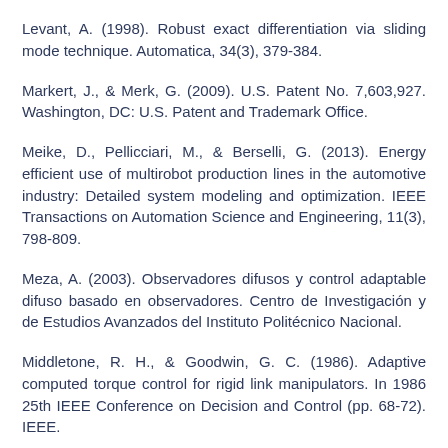Levant, A. (1998). Robust exact differentiation via sliding mode technique. Automatica, 34(3), 379-384.
Markert, J., & Merk, G. (2009). U.S. Patent No. 7,603,927. Washington, DC: U.S. Patent and Trademark Office.
Meike, D., Pellicciari, M., & Berselli, G. (2013). Energy efficient use of multirobot production lines in the automotive industry: Detailed system modeling and optimization. IEEE Transactions on Automation Science and Engineering, 11(3), 798-809.
Meza, A. (2003). Observadores difusos y control adaptable difuso basado en observadores. Centro de Investigación y de Estudios Avanzados del Instituto Politécnico Nacional.
Middletone, R. H., & Goodwin, G. C. (1986). Adaptive computed torque control for rigid link manipulators. In 1986 25th IEEE Conference on Decision and Control (pp. 68-72). IEEE.